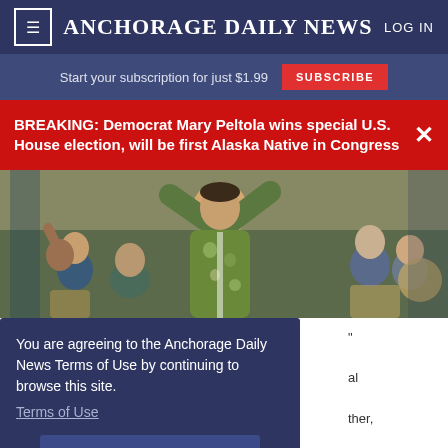≡  ANCHORAGE DAILY NEWS  LOG IN
Start your subscription for just $1.99  SUBSCRIBE
BREAKING: Democrat Mary Peltola wins special U.S. House election, will be first Alaska Native in Congress
[Figure (photo): Photo of a person in a floral/traditional parka with arms raised in celebration, surrounded by a crowd of people cheering.]
You are agreeing to the Anchorage Daily News Terms of Use by continuing to browse this site. Terms of Use
I Accept
age